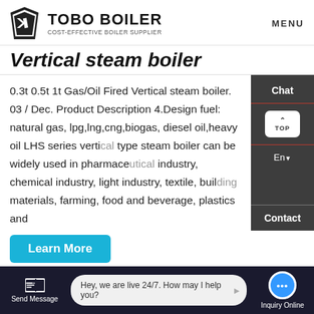TOBO BOILER COST-EFFECTIVE BOILER SUPPLIER | MENU
Vertical steam boiler
0.3t 0.5t 1t Gas/Oil Fired Vertical steam boiler. 03 / Dec. Product Description 4.Design fuel: natural gas, lpg,lng,cng,biogas, diesel oil,heavy oil LHS series vertical type steam boiler can be widely used in pharmaceutical industry, chemical industry, light industry, textile, building materials, farming, food and beverage, plastics and
Learn More
[Figure (photo): Industrial boiler pipes and equipment photo]
Chat
En
Contact
Send Message | Hey, we are live 24/7. How may I help you? | Inquiry Online